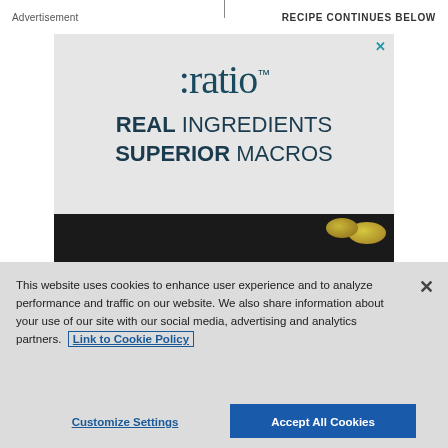Advertisement | Recipe Continues Below
[Figure (advertisement): :ratio TM brand advertisement - REAL INGREDIENTS SUPERIOR MACROS, with product image at bottom]
This website uses cookies to enhance user experience and to analyze performance and traffic on our website. We also share information about your use of our site with our social media, advertising and analytics partners. Link to Cookie Policy
Customize Settings | Accept All Cookies